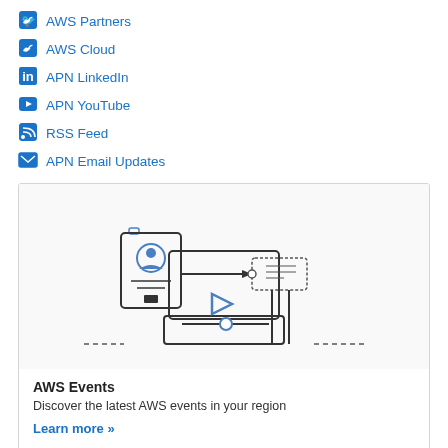AWS Partners
AWS Cloud
APN LinkedIn
APN YouTube
RSS Feed
APN Email Updates
[Figure (illustration): AWS Events illustration showing a laptop with a user badge/profile card, a play button, a slider control, ticket icon, and dashed lines representing connectivity or broadcast]
AWS Events
Discover the latest AWS events in your region
Learn more »